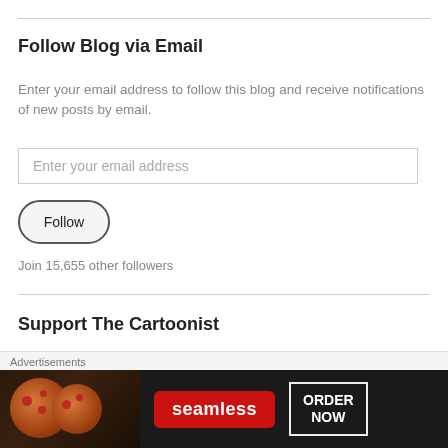Follow Blog via Email
Enter your email address to follow this blog and receive notifications of new posts by email.
Enter your email address
Follow
Join 15,655 other followers
Support The Cartoonist
Donate
Advertisements
[Figure (screenshot): Seamless food delivery advertisement showing pizza and 'ORDER NOW' call to action]